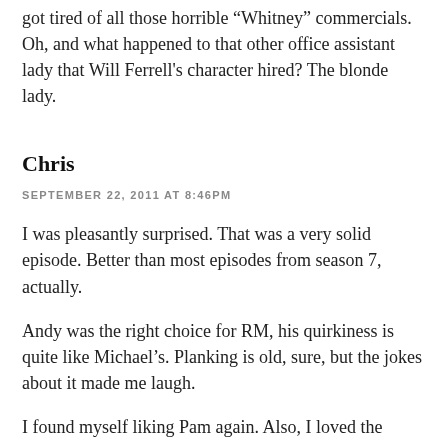got tired of all those horrible “Whitney” commercials. Oh, and what happened to that other office assistant lady that Will Ferrell’s character hired? The blonde lady.
Chris
SEPTEMBER 22, 2011 AT 8:46PM
I was pleasantly surprised. That was a very solid episode. Better than most episodes from season 7, actually.
Andy was the right choice for RM, his quirkiness is quite like Michael’s. Planking is old, sure, but the jokes about it made me laugh.
I found myself liking Pam again. Also, I loved the